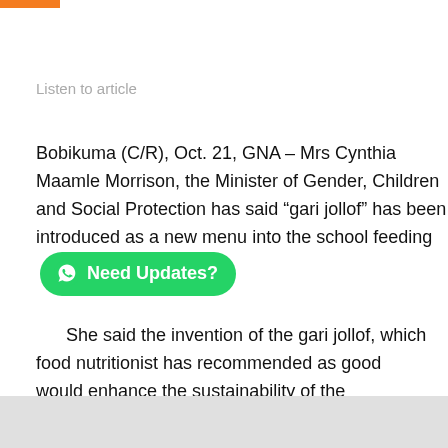Listen to article
Bobikuma (C/R), Oct. 21, GNA – Mrs Cynthia Maamle Morrison, the Minister of Gender, Children and Social Protection has said “gari jollof” has been introduced as a new menu into the school feeding
[Figure (other): WhatsApp button with text 'Need Updates?']
She said the invention of the gari jollof, which food nutritionist has recommended as good would enhance the sustainability of the programme.
Mrs Morrison made this known when she addressed